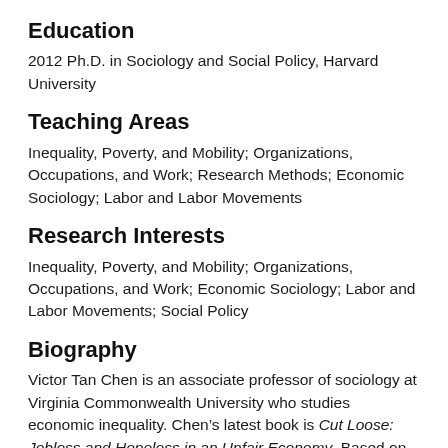Education
2012 Ph.D. in Sociology and Social Policy, Harvard University
Teaching Areas
Inequality, Poverty, and Mobility; Organizations, Occupations, and Work; Research Methods; Economic Sociology; Labor and Labor Movements
Research Interests
Inequality, Poverty, and Mobility; Organizations, Occupations, and Work; Economic Sociology; Labor and Labor Movements; Social Policy
Biography
Victor Tan Chen is an associate professor of sociology at Virginia Commonwealth University who studies economic inequality. Chen’s latest book is Cut Loose: Jobless and Hopeless in an Unfair Economy. Based on his research on long-term unemployment in America and Canada, Cut Loose examines how recent changes in the economy and culture are